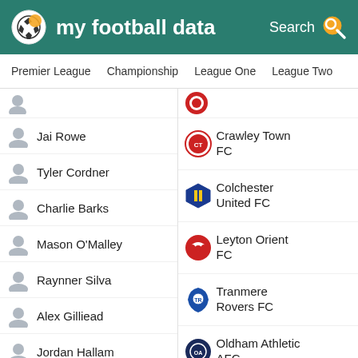my football data
Premier League | Championship | League One | League Two
Jai Rowe
Tyler Cordner
Charlie Barks
Mason O'Malley
Raynner Silva
Alex Gilliead
Jordan Hallam
Lewis Spence
Frank Vincent
George
Crawley Town FC
Colchester United FC
Leyton Orient FC
Tranmere Rovers FC
Oldham Athletic AFC
Bolton Wanderers FC